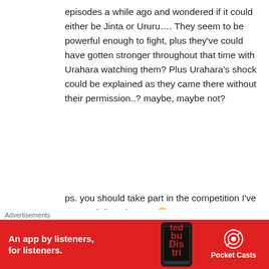episodes a while ago and wondered if it could either be Jinta or Ururu…. They seem to be powerful enough to fight, plus they've could have gotten stronger throughout that time with Urahara watching them? Plus Urahara's shock could be explained as they came there without their permission..? maybe, maybe not?
ps. you should take part in the competition I've put on daily anime art 😀
★ Like
tyler1996
[Figure (infographic): Red advertisement banner for Pocket Casts app: 'An app by listeners, for listeners.' with phone graphic and Pocket Casts logo]